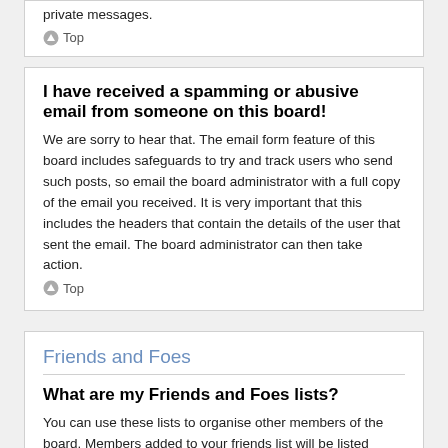private messages.
Top
I have received a spamming or abusive email from someone on this board!
We are sorry to hear that. The email form feature of this board includes safeguards to try and track users who send such posts, so email the board administrator with a full copy of the email you received. It is very important that this includes the headers that contain the details of the user that sent the email. The board administrator can then take action.
Top
Friends and Foes
What are my Friends and Foes lists?
You can use these lists to organise other members of the board. Members added to your friends list will be listed within your User Control Panel for quick access to see their online status and to send them private messages. Subject to template support, posts from these users may also be highlighted. If you add a user to your foes list, any posts they make will be hidden by default.